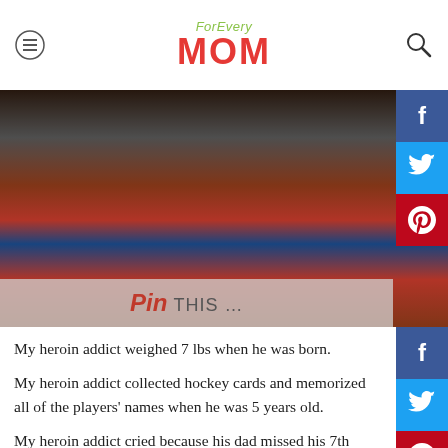ForEvery MOM
[Figure (photo): Photo of a young child wearing a red turtleneck and blue overalls, with a 'Pin THIS...' overlay at the bottom and social media sharing buttons (Facebook, Twitter, Pinterest) on the right side.]
My heroin addict weighed 7 lbs when he was born.
My heroin addict collected hockey cards and memorized all of the players' names when he was 5 years old.
My heroin addict cried because his dad missed his 7th birthday.